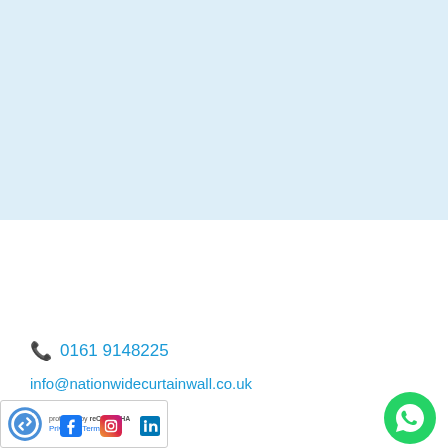[Figure (other): Light blue background section (top half of page)]
0161 9148225
info@nationwidecurtainwall.co.uk
[Figure (logo): reCAPTCHA badge with Privacy and Terms links]
[Figure (other): Social media icons: Facebook, Instagram, LinkedIn]
[Figure (other): WhatsApp floating button (green circle with phone icon)]